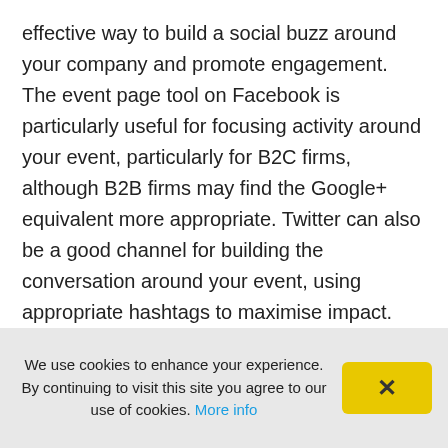effective way to build a social buzz around your company and promote engagement. The event page tool on Facebook is particularly useful for focusing activity around your event, particularly for B2C firms, although B2B firms may find the Google+ equivalent more appropriate. Twitter can also be a good channel for building the conversation around your event, using appropriate hashtags to maximise impact.
Google+ Hangouts
We use cookies to enhance your experience. By continuing to visit this site you agree to our use of cookies. More info